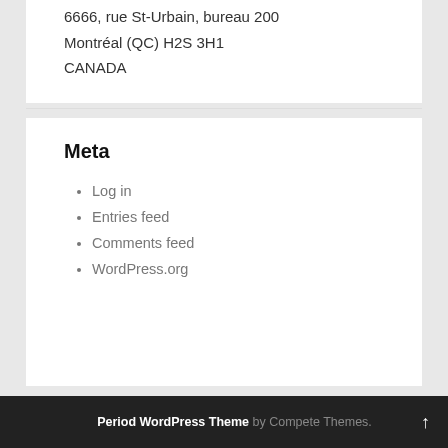6666, rue St-Urbain, bureau 200
Montréal (QC) H2S 3H1
CANADA
Meta
Log in
Entries feed
Comments feed
WordPress.org
Period WordPress Theme by Compete Themes.